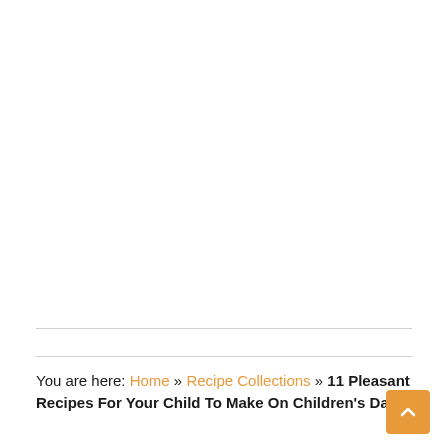You are here: Home » Recipe Collections » 11 Pleasant Recipes For Your Child To Make On Children's Day